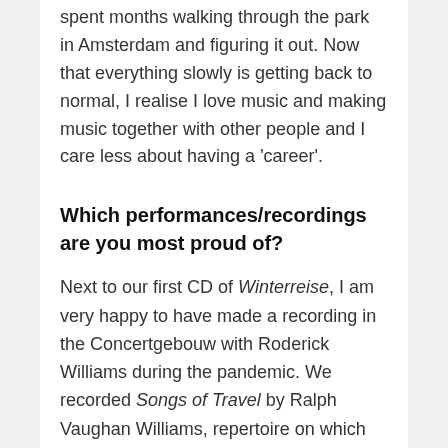spent months walking through the park in Amsterdam and figuring it out. Now that everything slowly is getting back to normal, I realise I love music and making music together with other people and I care less about having a 'career'.
Which performances/recordings are you most proud of?
Next to our first CD of Winterreise, I am very happy to have made a recording in the Concertgebouw with Roderick Williams during the pandemic. We recorded Songs of Travel by Ralph Vaughan Williams, repertoire on which Roderick is an absolute specialist. The rehearsals and the whole experience of making the recording will